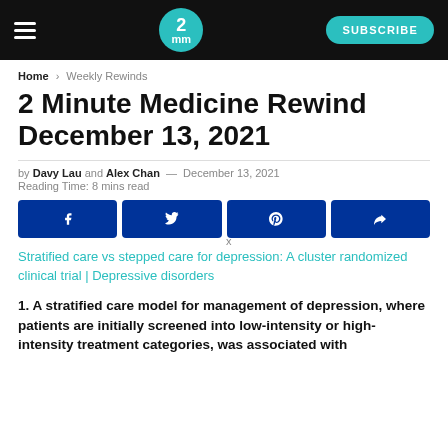2m m  SUBSCRIBE
Home > Weekly Rewinds
2 Minute Medicine Rewind December 13, 2021
by Davy Lau and Alex Chan — December 13, 2021
Reading Time: 8 mins read
[Figure (other): Social share buttons: Facebook, Twitter, Pinterest, Share]
Stratified care vs stepped care for depression: A cluster randomized clinical trial | Depressive disorders
1. A stratified care model for management of depression, where patients are initially screened into low-intensity or high-intensity treatment categories, was associated with